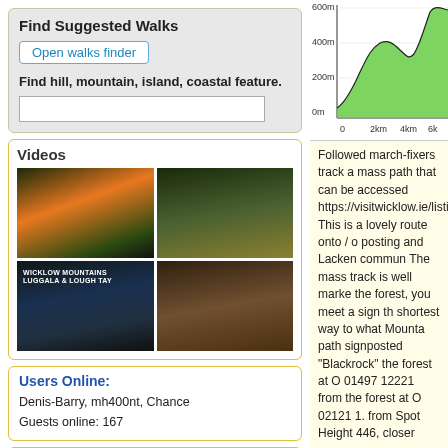Find Suggested Walks
Open walks finder
Find hill, mountain, island, coastal feature.
Videos
[Figure (photo): Four video thumbnails in a 2x2 grid showing landscapes including sunset/hills and Wicklow Mountains Luggala & Lough Tay]
Users Online:
Denis-Barry, mh400nt, Chance
Guests online: 167
Recent Contributions
<< Prev page 1 2 3 4 5 .. 15 Next page >>
Get Notifications
[Figure (continuous-plot): Elevation profile chart showing terrain from 0m to 600m+ over 6km+ distance, with green shaded area]
Followed march-fixers track a mass path that can be accessed https://visitwicklow.ie/listing/r This is a lovely route onto / o posting and Lacken commun The mass track is well marke the forest, you meet a sign th shortest way to what Mounta path signposted "Blackrock" the forest at O 01497 12221 from the forest at O 02121 1. from Spot Height 446, closer
[Figure (photo): Close-up photo of green vegetation/heather on hillside]